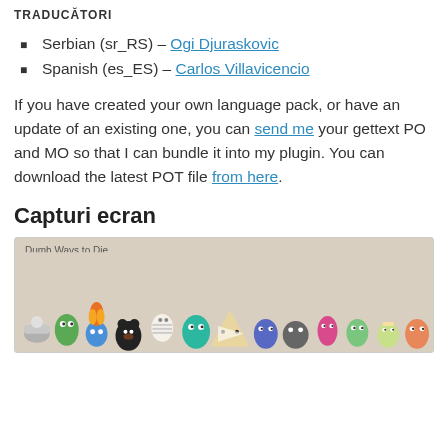TRADUCĂTORI
Serbian (sr_RS) – Ogi Djuraskovic
Spanish (es_ES) – Carlos Villavicencio
If you have created your own language pack, or have an update of an existing one, you can send me your gettext PO and MO so that I can bundle it into my plugin. You can download the latest POT file from here.
Capturi ecran
[Figure (screenshot): Screenshot showing a video player with 'Dumb Ways to Die' label and colorful cartoon characters on a beige background]